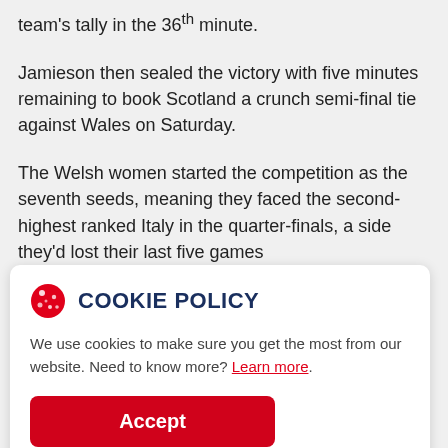team's tally in the 36th minute.
Jamieson then sealed the victory with five minutes remaining to book Scotland a crunch semi-final tie against Wales on Saturday.
The Welsh women started the competition as the seventh seeds, meaning they faced the second-highest ranked Italy in the quarter-finals, a side they'd lost their last five games
COOKIE POLICY
We use cookies to make sure you get the most from our website. Need to know more? Learn more.
Accept
In Cardiff, Wales' men treated a packed Sport Wales National Centre crowd to a dominant performance as the